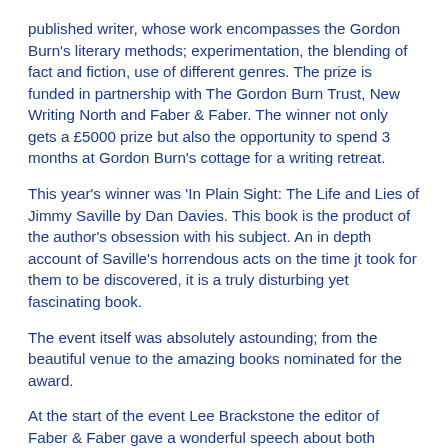published writer, whose work encompasses the Gordon Burn's literary methods; experimentation, the blending of fact and fiction, use of different genres. The prize is funded in partnership with The Gordon Burn Trust, New Writing North and Faber & Faber. The winner not only gets a £5000 prize but also the opportunity to spend 3 months at Gordon Burn's cottage for a writing retreat.
This year's winner was 'In Plain Sight: The Life and Lies of Jimmy Saville by Dan Davies. This book is the product of the author's obsession with his subject. An in depth account of Saville's horrendous acts on the time jt took for them to be discovered, it is a truly disturbing yet fascinating book.
The event itself was absolutely astounding; from the beautiful venue to the amazing books nominated for the award.
At the start of the event Lee Brackstone the editor of Faber & Faber gave a wonderful speech about both Gordon Burn's life and work and the nominated authors' works. Followed by a short reading from each author as well as an individual Q&A, which made all of the books sound absolutely fantastic! So much so that I wanted to buy and read them all at once!